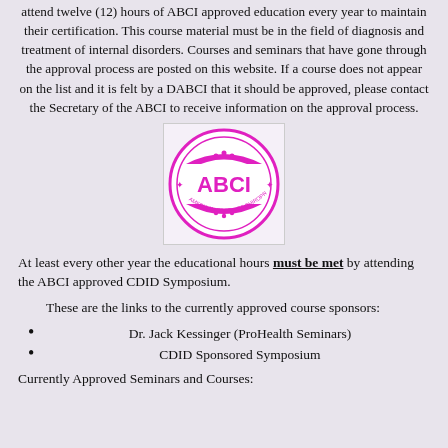attend twelve (12) hours of ABCI approved education every year to maintain their certification. This course material must be in the field of diagnosis and treatment of internal disorders. Courses and seminars that have gone through the approval process are posted on this website. If a course does not appear on the list and it is felt by a DABCI that it should be approved, please contact the Secretary of the ABCI to receive information on the approval process.
[Figure (logo): ABCI circular stamp logo in magenta/pink color. Text reads 'ABCI' in large letters in the center, with 'AMERICAN BOARD OF CHIROPRACTIC INTERNISTS' around the border.]
At least every other year the educational hours must be met by attending the ABCI approved CDID Symposium.
These are the links to the currently approved course sponsors:
Dr. Jack Kessinger (ProHealth Seminars)
CDID Sponsored Symposium
Currently Approved Seminars and Courses: